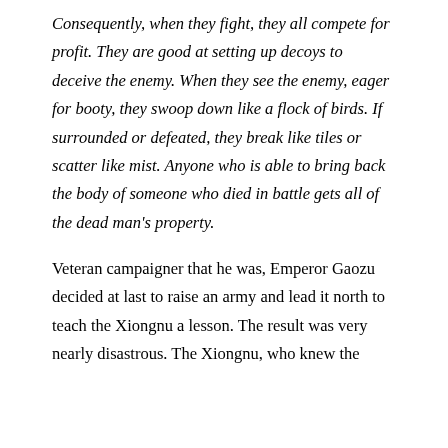Consequently, when they fight, they all compete for profit. They are good at setting up decoys to deceive the enemy. When they see the enemy, eager for booty, they swoop down like a flock of birds. If surrounded or defeated, they break like tiles or scatter like mist. Anyone who is able to bring back the body of someone who died in battle gets all of the dead man's property.
Veteran campaigner that he was, Emperor Gaozu decided at last to raise an army and lead it north to teach the Xiongnu a lesson. The result was very nearly disastrous. The Xiongnu, who knew the